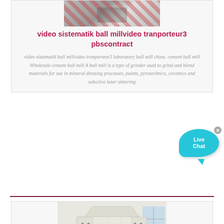[Figure (photo): Photo of industrial equipment, partially visible at top of card]
video sistematik ball millvideo tranporteur3 pbscontract
video sistematik ball millvideo tranporteur3 laboratory ball mill china. cement ball mill Wholesale cement ball mill A ball mill is a type of grinder used to grind and blend materials for use in mineral dressing processes, paints, pyrotechnics, ceramics and selective laser sintering
[Figure (photo): Photo of a large industrial impact crusher machine, white/cream colored, in a warehouse setting]
Ball Mill Video Effect 3 Steel Mining...